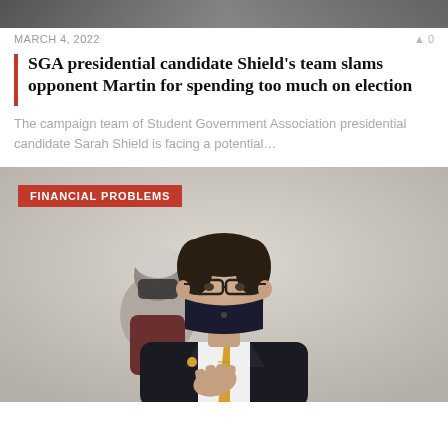[Figure (photo): Top strip showing a partially visible image from a previous article]
MARCH 4, 2022
SGA presidential candidate Shield's team slams opponent Martin for spending too much on election
The campaign team of Student Government Association presidential candidate Sarah Shield is facing a potential…
[Figure (photo): Man in black suit with gold tie and black face mask, hand on chest, with older woman in background also wearing mask. Red badge overlay reads FINANCIAL PROBLEMS.]
FINANCIAL PROBLEMS